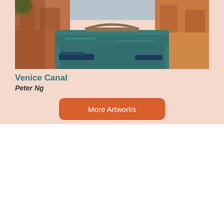[Figure (photo): Venice canal photo showing narrow waterway with boats, orange/terracotta buildings on either side, and a bridge in the background]
Venice Canal
Peter Ng
More Artworks
We use cookies on our website to give you the most relevant experience by remembering your preferences and repeat visits. By clicking “Accept All”, you consent to the use of ALL the cookies. However, you may visit "Cookie Settings" to provide a controlled consent.
Cookie Settings
Accept All